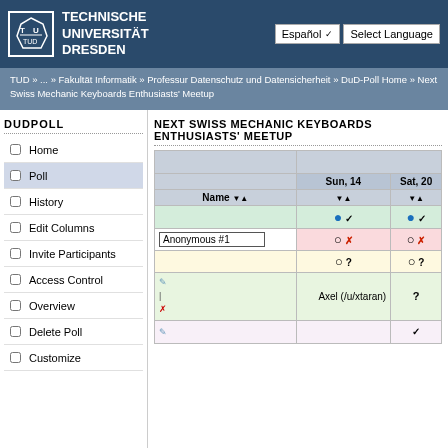[Figure (screenshot): Technische Universität Dresden logo — white octagonal border with TU letters inside, on dark blue background]
TECHNISCHE UNIVERSITÄT DRESDEN
Español  Select Language
TUD » ... » Fakultät Informatik » Professur Datenschutz und Datensicherheit » DuD-Poll Home » Next Swiss Mechanic Keyboards Enthusiasts&#39; Meetup
DUDPOLL
Home
Poll
History
Edit Columns
Invite Participants
Access Control
Overview
Delete Poll
Customize
NEXT SWISS MECHANIC KEYBOARDS ENTHUSIASTS&#39; MEETUP
| Name ▼▲ | Sun, 14 ▼▲ | Sat, 20 ▼▲ |
| --- | --- | --- |
|  | ● ✓ | ● ✓ |
| Anonymous #1 | ○ ✗ | ○ ✗ |
|  | ○ ? | ○ ? |
| Axel (/u/xtaran) | ? | ✓ |